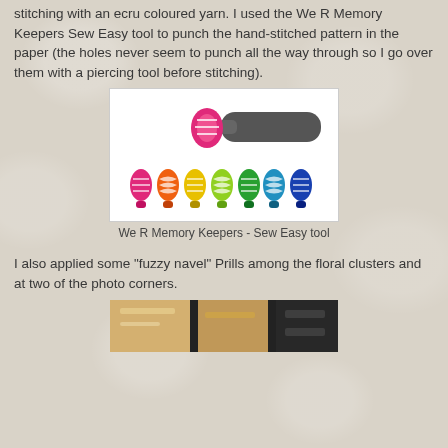stitching with an ecru coloured yarn. I used the We R Memory Keepers Sew Easy tool to punch the hand-stitched pattern in the paper (the holes never seem to punch all the way through so I go over them with a piercing tool before stitching).
[Figure (photo): We R Memory Keepers Sew Easy tool — a handle with a pink roller wheel at the front, alongside a row of colorful replacement stitching wheels in pink, orange, yellow, light green, green, teal, blue, and dark blue.]
We R Memory Keepers - Sew Easy tool
I also applied some "fuzzy navel" Prills among the floral clusters and at two of the photo corners.
[Figure (photo): Partial photo showing crafting materials including scrapbook papers and embellishments in warm tones.]